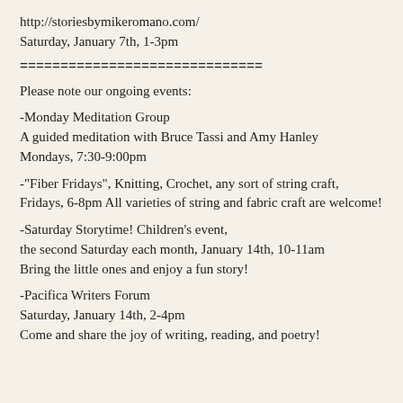http://storiesbymikeromano.com/
Saturday, January 7th, 1-3pm
==============================
Please note our ongoing events:
-Monday Meditation Group
A guided meditation with Bruce Tassi and Amy Hanley
Mondays, 7:30-9:00pm
-"Fiber Fridays", Knitting, Crochet, any sort of string craft,
Fridays, 6-8pm All varieties of string and fabric craft are welcome!
-Saturday Storytime! Children's event,
the second Saturday each month, January 14th, 10-11am
Bring the little ones and enjoy a fun story!
-Pacifica Writers Forum
Saturday, January 14th, 2-4pm
Come and share the joy of writing, reading, and poetry!